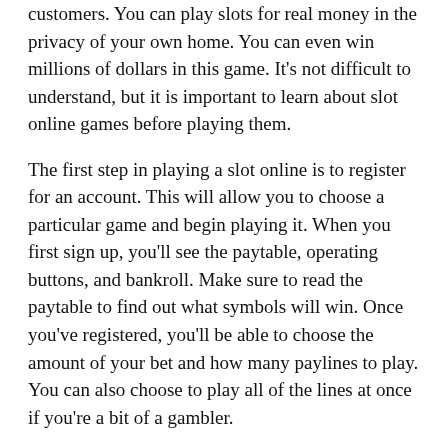customers. You can play slots for real money in the privacy of your own home. You can even win millions of dollars in this game. It's not difficult to understand, but it is important to learn about slot online games before playing them.
The first step in playing a slot online is to register for an account. This will allow you to choose a particular game and begin playing it. When you first sign up, you'll see the paytable, operating buttons, and bankroll. Make sure to read the paytable to find out what symbols will win. Once you've registered, you'll be able to choose the amount of your bet and how many paylines to play. You can also choose to play all of the lines at once if you're a bit of a gambler.
Once you've registered, you can begin playing online slots. Most of them have random numbers, which mean that each spin is determined fairly and randomly. Just remember to read the paytable and the rules to make sure you know what you're doing. While most games are similar, you can always choose to play for real money. To start playing, you'll need to register an account and login. After you've registered, you can then choose to play for free or for real money.